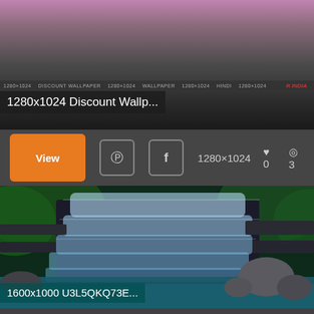[Figure (photo): Partial photo of person in pink/purple top with dark background, partially obscured by overlaid card/panel. Text overlay visible on right side reading 'R INDIA' in red italic.]
1280x1024 Discount Wallp...
View  ♡ 0  👁 3  1280×1024
[Figure (photo): Long-exposure waterfall photo showing cascading blue-white water over dark rocky ledges surrounded by green foliage, with a turquoise pool at the bottom and large rocks on the right.]
1600x1000 U3L5QKQ73E...